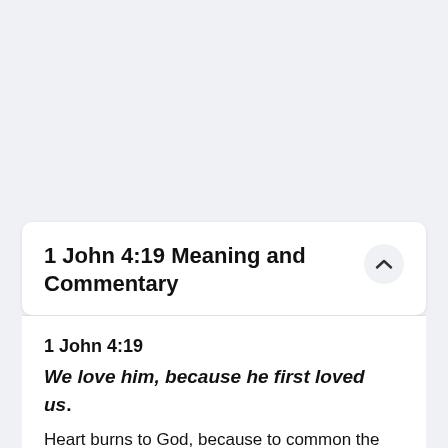1 John 4:19 Meaning and Commentary
1 John 4:19
We love him, because he first loved us.
Heart burns to God, because to common the